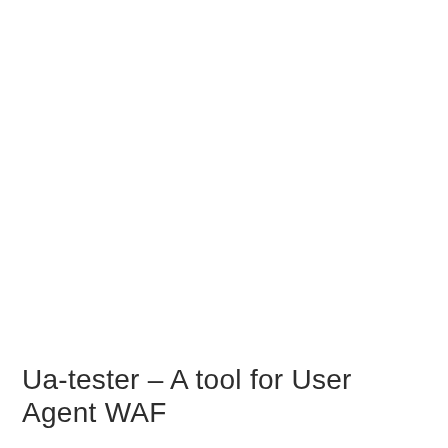Ua-tester – A tool for User Agent WAF